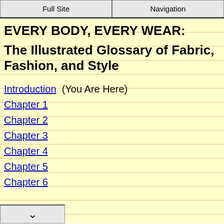Full Site | Navigation
EVERY BODY, EVERY WEAR:
The Illustrated Glossary of Fabric, Fashion, and Style
Introduction (You Are Here)
Chapter 1
Chapter 2
Chapter 3
Chapter 4
Chapter 5
Chapter 6